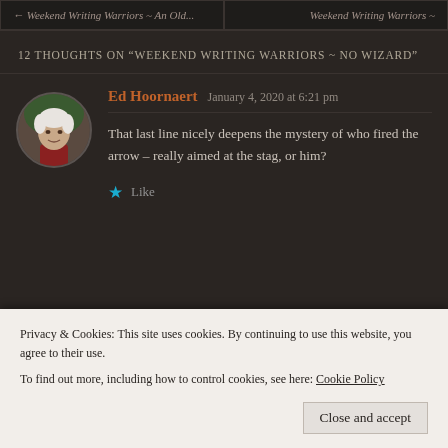← Weekend Writing Warriors ~ An Old...    Weekend Writing Warriors ~
12 THOUGHTS ON "WEEKEND WRITING WARRIORS ~ NO WIZARD"
[Figure (photo): Circular avatar photo of a white-haired man against a dark background]
Ed Hoornaert   January 4, 2020 at 6:21 pm
That last line nicely deepens the mystery of who fired the arrow – really aimed at the stag, or him?
★ Like
Privacy & Cookies: This site uses cookies. By continuing to use this website, you agree to their use.
To find out more, including how to control cookies, see here: Cookie Policy